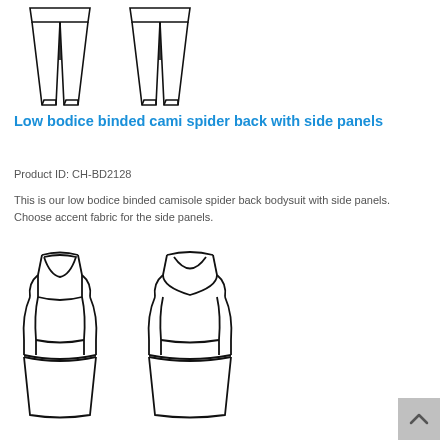[Figure (illustration): Technical flat sketch of two narrow-leg pants (front and back views), shown from approximately waist to ankle, black outlines on white.]
Low bodice binded cami spider back with side panels
Product ID: CH-BD2128
This is our low bodice binded camisole spider back bodysuit with side panels.  Choose accent fabric for the side panels.
[Figure (illustration): Technical flat sketch of a low bodice camisole spider back bodysuit with side panels, showing front and back views, black outlines on white.]